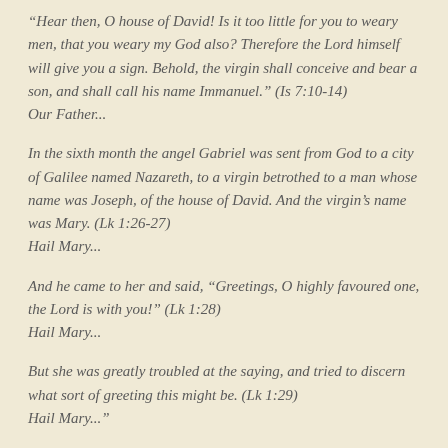“Hear then, O house of David! Is it too little for you to weary men, that you weary my God also? Therefore the Lord himself will give you a sign. Behold, the virgin shall conceive and bear a son, and shall call his name Immanuel.” (Is 7:10-14)
Our Father...
In the sixth month the angel Gabriel was sent from God to a city of Galilee named Nazareth, to a virgin betrothed to a man whose name was Joseph, of the house of David. And the virgin’s name was Mary. (Lk 1:26-27)
Hail Mary...
And he came to her and said, “Greetings, O highly favoured one, the Lord is with you!” (Lk 1:28)
Hail Mary...
But she was greatly troubled at the saying, and tried to discern what sort of greeting this might be. (Lk 1:29)
Hail Mary...”
This is a wonderful little booklet. I prayed through a set a day over 4 days my first time through this booklet. It is a wonderful